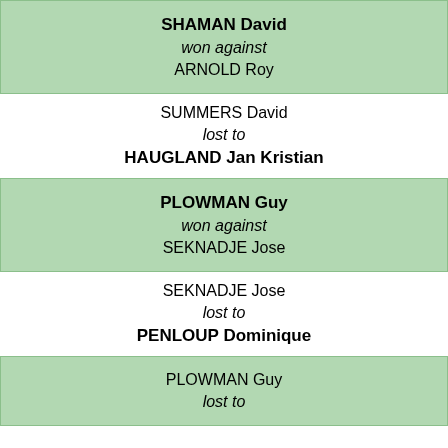SHAMAN David won against ARNOLD Roy
SUMMERS David lost to HAUGLAND Jan Kristian
PLOWMAN Guy won against SEKNADJE Jose
SEKNADJE Jose lost to PENLOUP Dominique
PLOWMAN Guy lost to